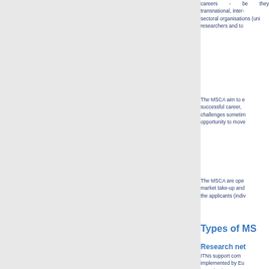careers - be they transnational, inter-sectoral organisations (uni researchers and to
The MSCA aim to e successful career, challenges sometim opportunity to move
The MSCA are ope market take-up and the applicants (indiv
Types of MS
Research net
ITNs support com implemented by Eu organisations. The research train innovation and em